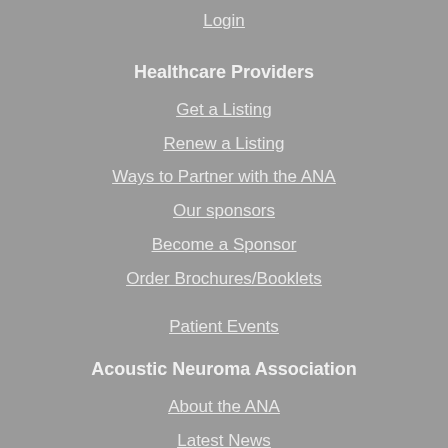Login
Healthcare Providers
Get a Listing
Renew a Listing
Ways to Partner with the ANA
Our sponsors
Become a Sponsor
Order Brochures/Booklets
Patient Events
Acoustic Neuroma Association
About the ANA
Latest News